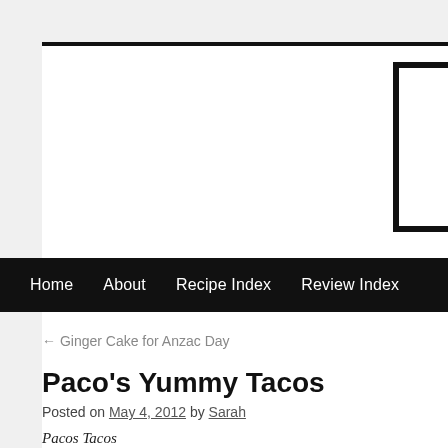Home    About    Recipe Index    Review Index
← Ginger Cake for Anzac Day
Paco's Yummy Tacos
Posted on May 4, 2012 by Sarah
Pacos Tacos